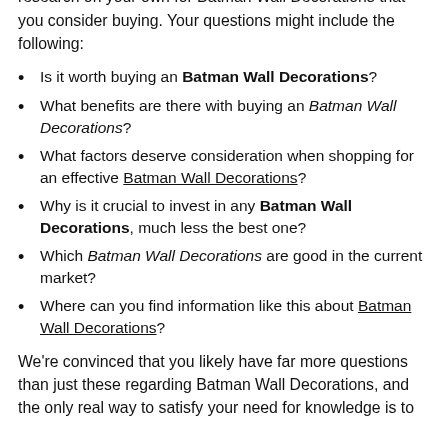recommendations, but it's still crucial that you do thorough research on your own for Batman Wall Decorations that you consider buying. Your questions might include the following:
Is it worth buying an Batman Wall Decorations?
What benefits are there with buying an Batman Wall Decorations?
What factors deserve consideration when shopping for an effective Batman Wall Decorations?
Why is it crucial to invest in any Batman Wall Decorations, much less the best one?
Which Batman Wall Decorations are good in the current market?
Where can you find information like this about Batman Wall Decorations?
We're convinced that you likely have far more questions than just these regarding Batman Wall Decorations, and the only real way to satisfy your need for knowledge is to